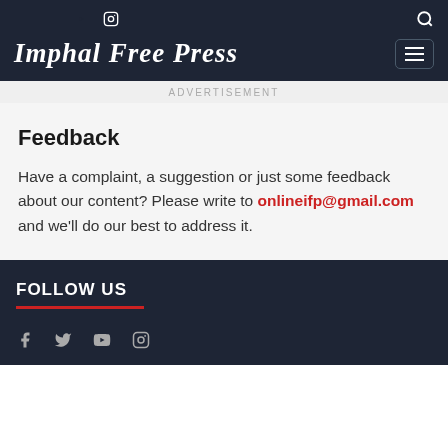Imphal Free Press — navigation header with social icons and search
ADVERTISEMENT
Feedback
Have a complaint, a suggestion or just some feedback about our content? Please write to onlineifp@gmail.com and we'll do our best to address it.
FOLLOW US
Footer with social icons: Facebook, Twitter, YouTube, Instagram